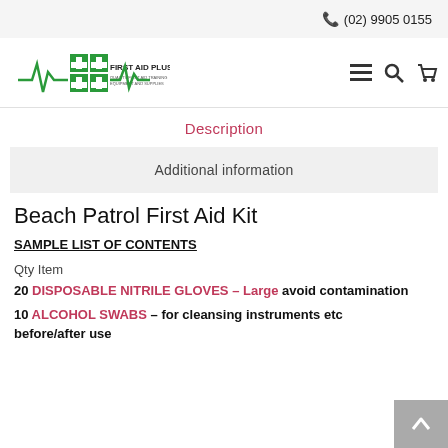(02) 9905 0155
[Figure (logo): First Aid Plus logo with green cross squares and heartbeat line]
Description
Additional information
Beach Patrol First Aid Kit
SAMPLE LIST OF CONTENTS
Qty Item
20 DISPOSABLE NITRILE GLOVES – Large avoid contamination
10 ALCOHOL SWABS – for cleansing instruments etc before/after use